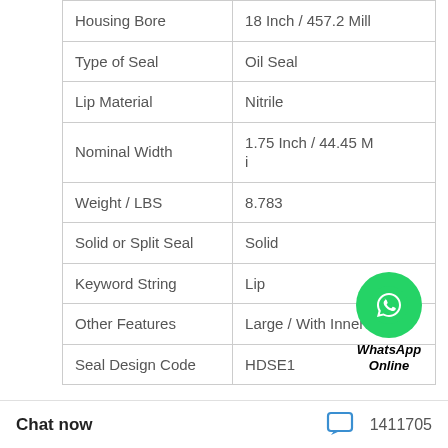| Property | Value |
| --- | --- |
| Housing Bore | 18 Inch / 457.2 Mill |
| Type of Seal | Oil Seal |
| Lip Material | Nitrile |
| Nominal Width | 1.75 Inch / 44.45 Mi |
| Weight / LBS | 8.783 |
| Solid or Split Seal | Solid |
| Keyword String | Lip |
| Other Features | Large / With Inner C |
| Seal Design Code | HDSE1 |
[Figure (illustration): WhatsApp Online button with green phone icon and italic bold text 'WhatsApp Online']
Chat now  1411705